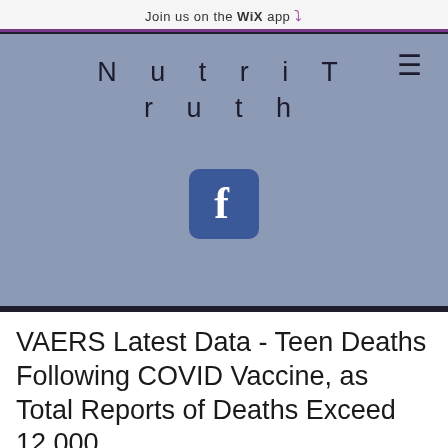Join us on the WiX app ⬇
[Figure (logo): NutriTruth website logo on blue-gray background with hamburger menu icon]
[Figure (logo): Facebook icon - blue rounded square with white 'f']
VAERS Latest Data - Teen Deaths Following COVID Vaccine, as Total Reports of Deaths Exceed 12,000
https://childrenshealthdefense.org/defe